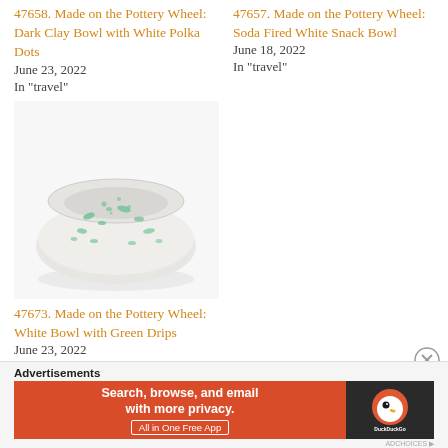47658. Made on the Pottery Wheel: Dark Clay Bowl with White Polka Dots
June 23, 2022
In "travel"
47657. Made on the Pottery Wheel: Soda Fired White Snack Bowl
June 18, 2022
In "travel"
[Figure (photo): White ceramic bowl with green drip glaze decoration, photographed from above at an angle on a white background]
47673. Made on the Pottery Wheel: White Bowl with Green Drips
June 23, 2022
In "travel"
Advertisements
[Figure (screenshot): DuckDuckGo advertisement banner: orange left panel reading 'Search, browse, and email with more privacy. All in One Free App', dark right panel with DuckDuckGo logo]